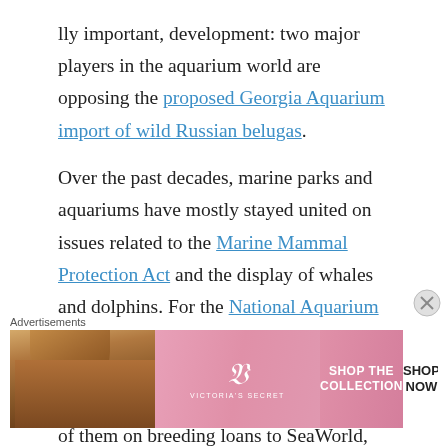lly important, development: two major players in the aquarium world are opposing the proposed Georgia Aquarium import of wild Russian belugas.

Over the past decades, marine parks and aquariums have mostly stayed united on issues related to the Marine Mammal Protection Act and the display of whales and dolphins. For the National Aquarium and Sea Life Centres to take a different view of the Georgia Aquarium's plan to import wild belugas and distribute many of them on breeding loans to SeaWorld, Shedd Aquarium, and Mystic Aquarium is a big deal. And it's an encouraging sign that some aquariums–given what
Advertisements
[Figure (other): Victoria's Secret advertisement banner showing a woman with curly hair, VS logo, 'SHOP THE COLLECTION' text, and 'SHOP NOW' button]